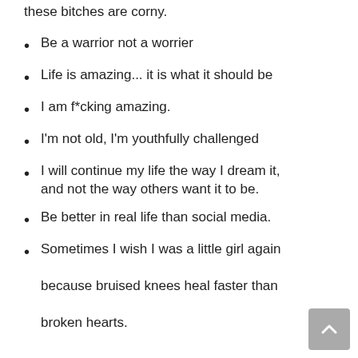these bitches are corny.
Be a warrior not a worrier
Life is amazing... it is what it should be
I am f*cking amazing.
I'm not old, I'm youthfully challenged
I will continue my life the way I dream it, and not the way others want it to be.
Be better in real life than social media.
Sometimes I wish I was a little girl again because bruised knees heal faster than broken hearts.